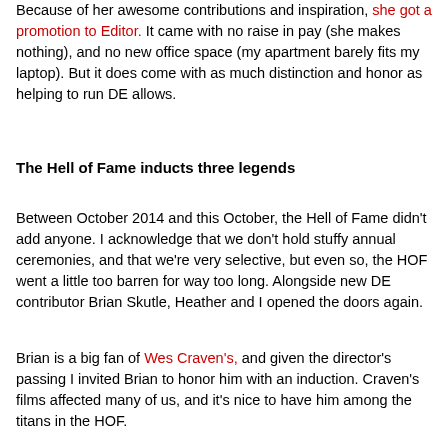Because of her awesome contributions and inspiration, she got a promotion to Editor.  It came with no raise in pay (she makes nothing), and no new office space (my apartment barely fits my laptop).  But it does come with as much distinction and honor as helping to run DE allows.
The Hell of Fame inducts three legends
Between October 2014 and this October, the Hell of Fame didn't add anyone.  I acknowledge that we don't hold stuffy annual ceremonies, and that we're very selective, but even so, the HOF went a little too barren for way too long.  Alongside new DE contributor Brian Skutle, Heather and I opened the doors again.
Brian is a big fan of Wes Craven's, and given the director's passing I invited Brian to honor him with an induction.  Craven's films affected many of us, and it's nice to have him among the titans in the HOF.